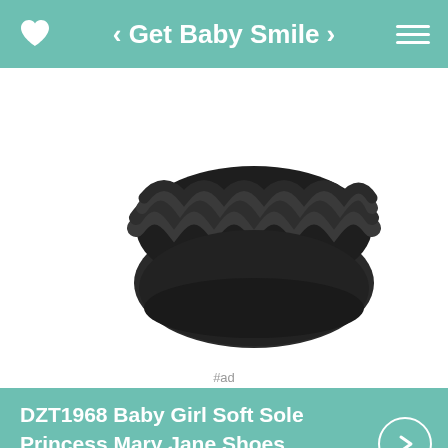< Get Baby Smile >
[Figure (photo): Baby shoe product photo — dark black ruffled soft sole shoe viewed from above on white background]
#ad
DZT1968 Baby Girl Soft Sole Princess Mary Jane Shoes Prewalker
#ad
#ad - Little Fancy 3 Pieces Baby Girls' Lace Tutu Dress Bodysuit with Headband and Foot Jewelry 3-6 Months Black #ad - If you have any question, please contact us we will do our best to solve the problem for you. Material:Cloth. Size:11=age:0~6